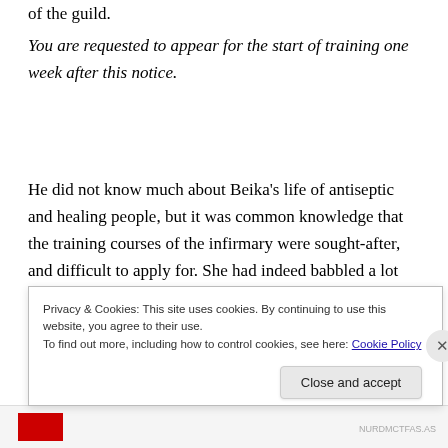of the guild.
You are requested to appear for the start of training one week after this notice.
He did not know much about Beika’s life of antiseptic and healing people, but it was common knowledge that the training courses of the infirmary were sought-after, and difficult to apply for. She had indeed babbled a lot about
Privacy & Cookies: This site uses cookies. By continuing to use this website, you agree to their use.
To find out more, including how to control cookies, see here: Cookie Policy
Close and accept